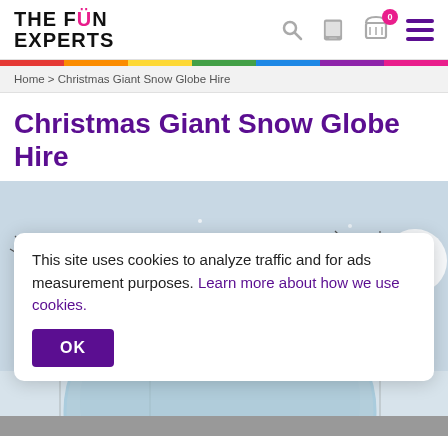THE FUN EXPERTS
Home > Christmas Giant Snow Globe Hire
Christmas Giant Snow Globe Hire
[Figure (photo): Photo of a large inflatable snow globe outdoors with trees in background, partially visible. A cookie consent overlay appears on top.]
This site uses cookies to analyze traffic and for ads measurement purposes. Learn more about how we use cookies.